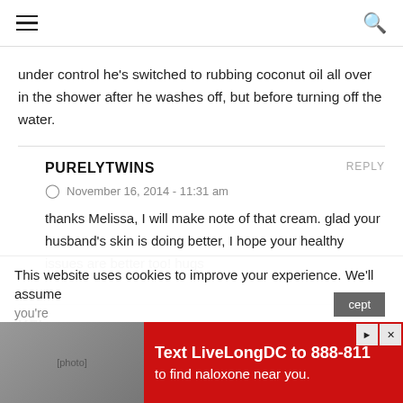☰ [hamburger menu] [search icon]
under control he's switched to rubbing coconut oil all over in the shower after he washes off, but before turning off the water.
PURELYTWINS
November 16, 2014 - 11:31 am
thanks Melissa, I will make note of that cream. glad your husband's skin is doing better, I hope your healthy issues are better too! hugs
KFI
This website uses cookies to improve your experience. We'll assume you're
[Figure (advertisement): Red advertisement banner: Text LiveLongDC to 888-811 to find naloxone near you.]